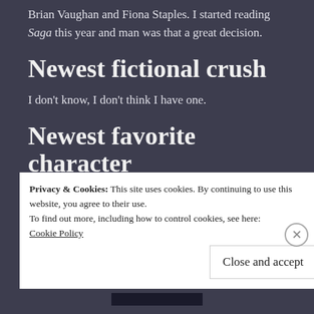Brian Vaughan and Fiona Staples. I started reading Saga this year and man was that a great decision.
Newest fictional crush
I don't know, I don't think I have one.
Newest favorite character
Privacy & Cookies: This site uses cookies. By continuing to use this website, you agree to their use.
To find out more, including how to control cookies, see here:
Cookie Policy
Close and accept